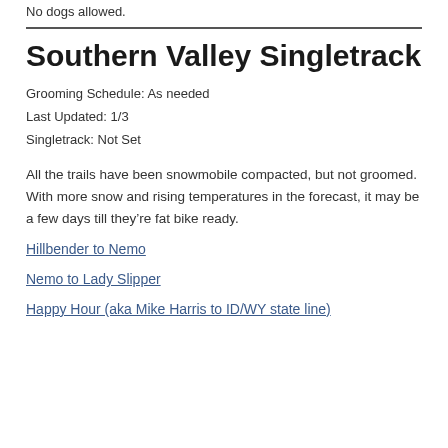No dogs allowed.
Southern Valley Singletrack
Grooming Schedule: As needed
Last Updated: 1/3
Singletrack: Not Set
All the trails have been snowmobile compacted, but not groomed. With more snow and rising temperatures in the forecast, it may be a few days till they’re fat bike ready.
Hillbender to Nemo
Nemo to Lady Slipper
Happy Hour (aka Mike Harris to ID/WY state line)